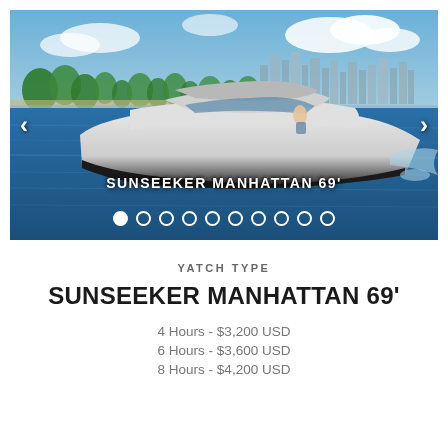[Figure (photo): Sunseeker Manhattan 69 foot yacht cruising on blue water with city skyline and palm trees in background. White and black hull motor yacht. Navigation arrows on left and right sides. Text overlay 'SUNSEEKER MANHATTAN 69'' on hull. Dot pagination indicators at bottom.]
YATCH TYPE
SUNSEEKER MANHATTAN 69'
4 Hours - $3,200 USD
6 Hours - $3,600 USD
8 Hours - $4,200 USD